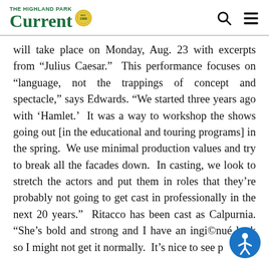Current
will take place on Monday, Aug. 23 with excerpts from “Julius Caesar.”  This performance focuses on “language, not the trappings of concept and spectacle,” says Edwards. “We started three years ago with ‘Hamlet.’  It was a way to workshop the shows going out [in the educational and touring programs] in the spring.  We use minimal production values and try to break all the facades down.  In casting, we look to stretch the actors and put them in roles that they’re probably not going to get cast in professionally in the next 20 years.”  Ritacco has been cast as Calpurnia. “She’s bold and strong and I have an ingi©nué look so I might not get it normally.  It’s nice to see people